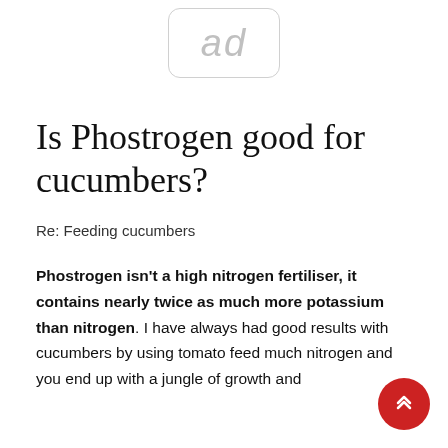[Figure (other): Ad placeholder box with 'ad' text in rounded rectangle]
Is Phostrogen good for cucumbers?
Re: Feeding cucumbers
Phostrogen isn't a high nitrogen fertiliser, it contains nearly twice as much more potassium than nitrogen. I have always had good results with cucumbers by using tomato feed much nitrogen and you end up with a jungle of growth and